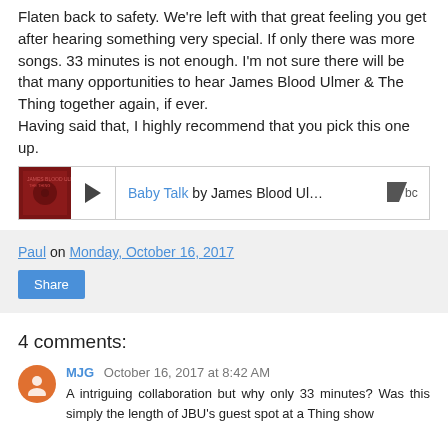Flaten back to safety. We're left with that great feeling you get after hearing something very special. If only there was more songs. 33 minutes is not enough. I'm not sure there will be that many opportunities to hear James Blood Ulmer & The Thing together again, if ever. Having said that, I highly recommend that you pick this one up.
[Figure (other): Music player widget showing album art and track 'Baby Talk' by James Blood Ul... with Bandcamp logo]
Paul on Monday, October 16, 2017
Share
4 comments:
MJG  October 16, 2017 at 8:42 AM
A intriguing collaboration but why only 33 minutes? Was this simply the length of JBU's guest spot at a Thing show